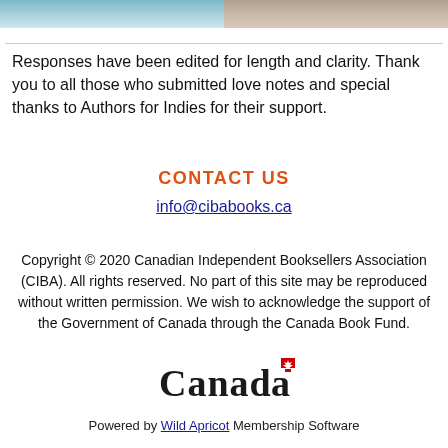[Figure (photo): Two cropped photos at top: left shows people with blue/teal tones, right shows a person with warm tones]
Responses have been edited for length and clarity. Thank you to all those who submitted love notes and special thanks to Authors for Indies for their support.
CONTACT US
info@cibabooks.ca
Copyright © 2020 Canadian Independent Booksellers Association (CIBA). All rights reserved. No part of this site may be reproduced without written permission. We wish to acknowledge the support of the Government of Canada through the Canada Book Fund.
[Figure (logo): Canada wordmark logo with maple leaf flag icon]
Powered by Wild Apricot Membership Software